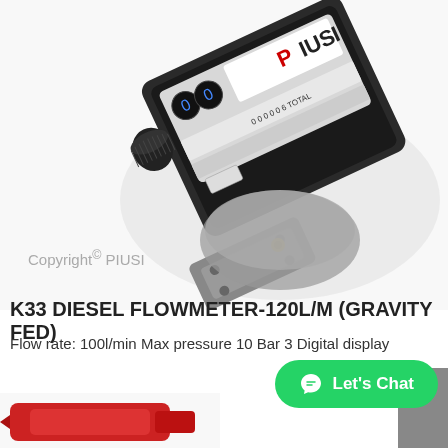[Figure (photo): PIUSI K33 diesel flowmeter device shown at an angle, black casing with grey fittings, digital display showing 0s, PIUSI logo visible, brass fitting at bottom]
Copyright© PIUSI
K33 DIESEL FLOWMETER-120L/M (GRAVITY FED)
Flow rate: 100l/min Max pressure 10 Bar 3 Digital display
[Figure (photo): Red component (partial view) at the bottom of the page]
Let's Chat